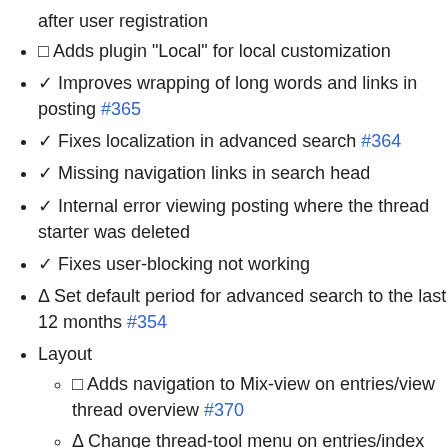after user registration
□ Adds plugin "Local" for local customization
✓ Improves wrapping of long words and links in posting #365
✓ Fixes localization in advanced search #364
✓ Missing navigation links in search head
✓ Internal error viewing posting where the thread starter was deleted
✓ Fixes user-blocking not working
Δ Set default period for advanced search to the last 12 months #354
Layout
□ Adds navigation to Mix-view on entries/view thread overview #370
Δ Change thread-tool menu on entries/index #367
Δ Switches Bota-theme night/day button icon